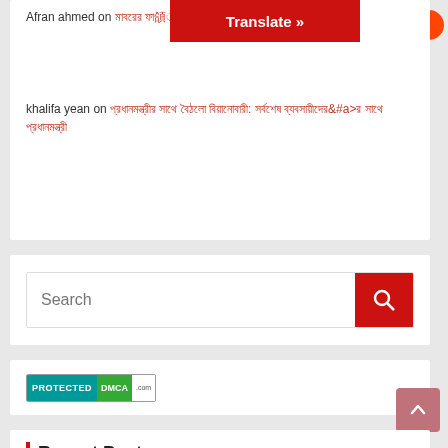Afran ahmed on [Bengali link text]
khalifa yean on [Bengali link text]
[Figure (screenshot): Search box with red search button and magnifying glass icon]
[Figure (logo): PROTECTED DMCA.com badge]
Recent Posts
INTERNATIONAL
[Bengali article title text]